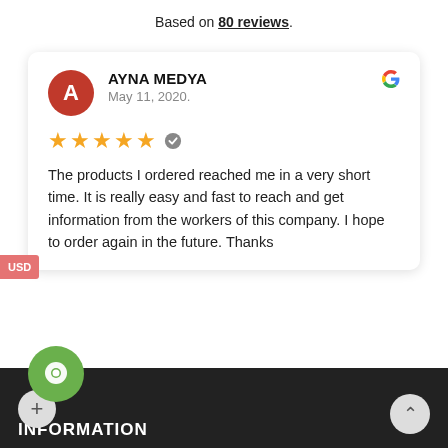Based on 80 reviews.
AYNA MEDYA
May 11, 2020.
★★★★★ (verified)
The products I ordered reached me in a very short time. It is really easy and fast to reach and get information from the workers of this company. I hope to order again in the future. Thanks
USD
INFORMATION